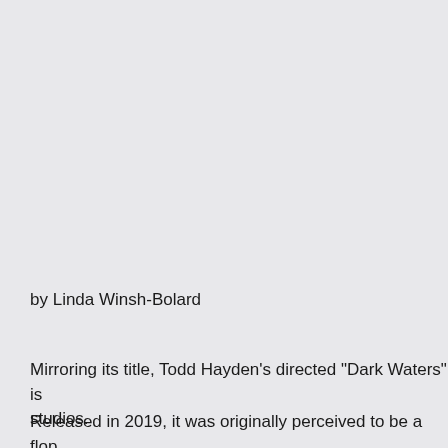by Linda Winsh-Bolard
Mirroring its title, Todd Hayden's directed "Dark Waters" is studios.
Released in 2019, it was originally perceived to be a flop. Re-released for streaming, it rose from ashes, or water, o